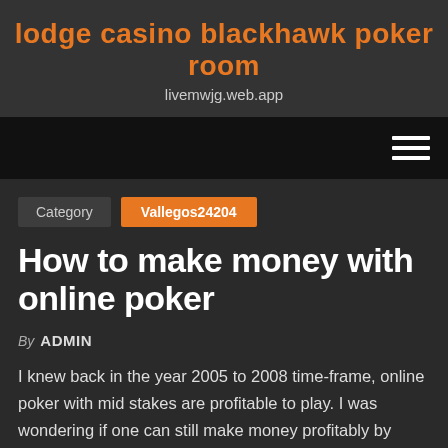lodge casino blackhawk poker room
livemwjg.web.app
Category  Vallegos24204
How to make money with online poker
By ADMIN
I knew back in the year 2005 to 2008 time-frame, online poker with mid stakes are profitable to play. I was wondering if one can still make money profitably by playing